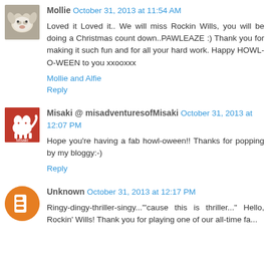Mollie October 31, 2013 at 11:54 AM
Loved it Loved it.. We will miss Rockin Wills, you will be doing a Christmas count down..PAWLEAZE :) Thank you for making it such fun and for all your hard work. Happy HOWL-O-WEEN to you xxooxxx
Mollie and Alfie
Reply
Misaki @ misadventuresofMisaki October 31, 2013 at 12:07 PM
Hope you're having a fab howl-oween!! Thanks for popping by my bloggy:-)
Reply
Unknown October 31, 2013 at 12:17 PM
Ringy-dingy-thriller-singy..."cause this is thriller..." Hello, Rockin' Wills! Thank you for playing one of our all-time favorites! Hope you can attend our dance similar...